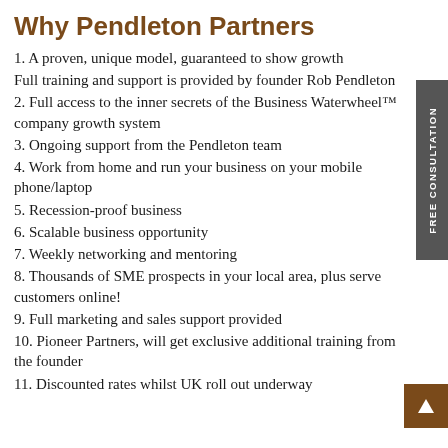Why Pendleton Partners
1. A proven, unique model, guaranteed to show growth
Full training and support is provided by founder Rob Pendleton
2. Full access to the inner secrets of the Business Waterwheel™ company growth system
3. Ongoing support from the Pendleton team
4. Work from home and run your business on your mobile phone/laptop
5. Recession-proof business
6. Scalable business opportunity
7. Weekly networking and mentoring
8. Thousands of SME prospects in your local area, plus serve customers online!
9. Full marketing and sales support provided
10. Pioneer Partners, will get exclusive additional training from the founder
11. Discounted rates whilst UK roll out underway